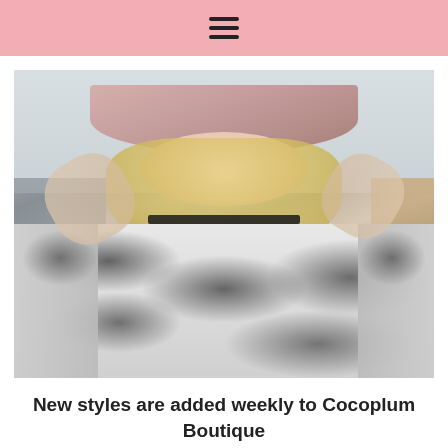☰ (hamburger menu icon)
[Figure (photo): A smiling blonde woman wearing a pink wide-brim hat and a black-and-white tie-dye long-sleeve top, holding the brim of her hat outdoors on a city street.]
New styles are added weekly to Cocoplum Boutique